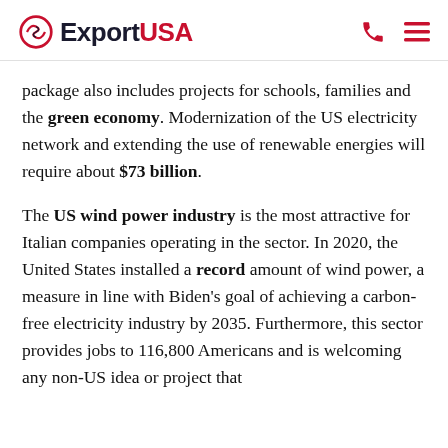ExportUSA
package also includes projects for schools, families and the green economy. Modernization of the US electricity network and extending the use of renewable energies will require about $73 billion.
The US wind power industry is the most attractive for Italian companies operating in the sector. In 2020, the United States installed a record amount of wind power, a measure in line with Biden's goal of achieving a carbon-free electricity industry by 2035. Furthermore, this sector provides jobs to 116,800 Americans and is welcoming any non-US idea or project that